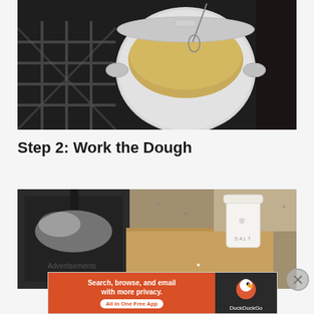[Figure (photo): A white Dutch oven pot on a gas stove with yellowish cream or dough mixture inside, being stirred with a whisk or utensil. The stove grates are visible beneath the pot.]
Step 2: Work the Dough
[Figure (photo): A kitchen scene showing a dark pan or skillet on a wooden cutting board next to a white ceramic salt jar labeled SALT, with a granite countertop in the background.]
Advertisements
[Figure (screenshot): DuckDuckGo advertisement banner: 'Search, browse, and email with more privacy. All in One Free App' with DuckDuckGo logo on the right side.]